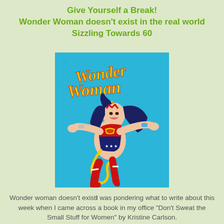Give Yourself a Break!
Wonder Woman doesn't exist in the real world
Sizzling Towards 60
[Figure (illustration): Classic comic-book style illustration of Wonder Woman flying with arms outstretched against a light blue background, with 'Wonder Woman' written in red cursive script at the top.]
Wonder woman doesn't exist​I was pondering what to write about this week when I came across a book in my office “Don’t Sweat the Small Stuff for Women” by Kristine Carlson.